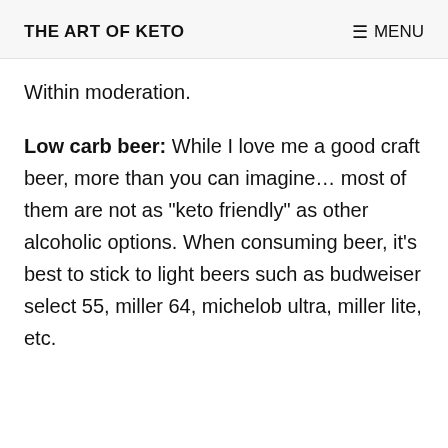THE ART OF KETO   MENU
Within moderation.
Low carb beer: While I love me a good craft beer, more than you can imagine… most of them are not as “keto friendly” as other alcoholic options. When consuming beer, it’s best to stick to light beers such as budweiser select 55, miller 64, michelob ultra, miller lite, etc.